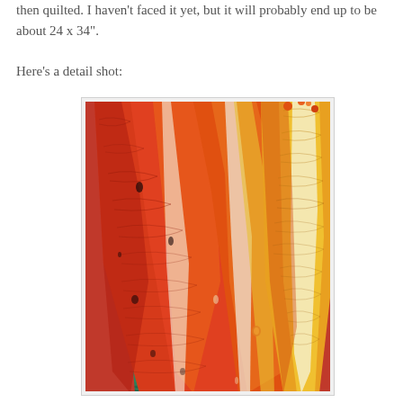then quilted. I haven't faced it yet, but it will probably end up to be about 24 x 34".
Here's a detail shot:
[Figure (photo): A detail shot of a colorful quilted artwork depicting elongated leaf or petal shapes in vivid red, orange, yellow, and green colors with intricate textile texture and wavy line patterns throughout.]